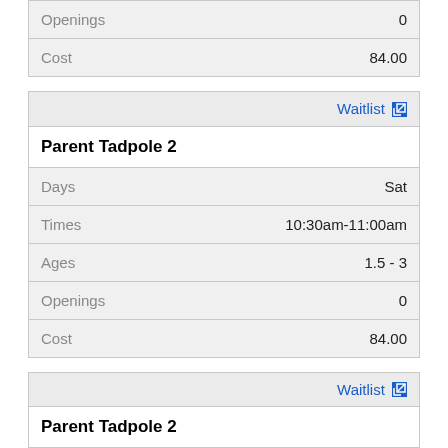| Field | Value |
| --- | --- |
| Openings | 0 |
| Cost | 84.00 |
| Field | Value |
| --- | --- |
| Waitlist |  |
| Parent Tadpole 2 |  |
| Days | Sat |
| Times | 10:30am-11:00am |
| Ages | 1.5 - 3 |
| Openings | 0 |
| Cost | 84.00 |
| Field | Value |
| --- | --- |
| Waitlist |  |
| Parent Tadpole 2 |  |
| Days | Sun |
| Times | 11:30am-12:00pm |